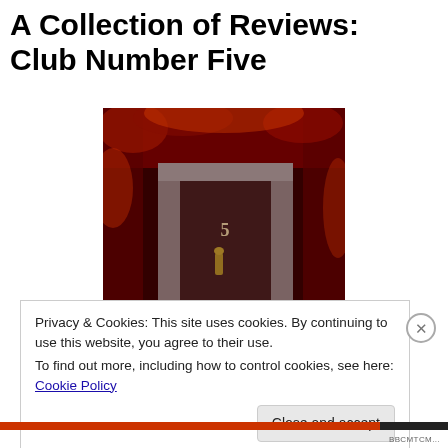A Collection of Reviews: Club Number Five
[Figure (photo): A dark horror-themed image of a door with the number 5, surrounded by red and black atmospheric tones suggesting blood or decay]
Privacy & Cookies: This site uses cookies. By continuing to use this website, you agree to their use.
To find out more, including how to control cookies, see here: Cookie Policy
Close and accept